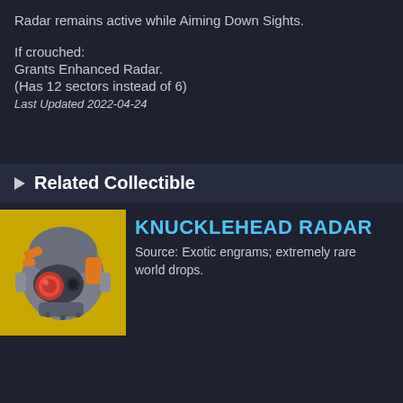Radar remains active while Aiming Down Sights.
If crouched:
Grants Enhanced Radar.
(Has 12 sectors instead of 6)
Last Updated 2022-04-24
Related Collectible
[Figure (illustration): Yellow-background icon of an exotic scout helmet (Knucklehead Radar) — a mechanical robotic helmet with orange and grey panels and a red circular lens/eye piece.]
KNUCKLEHEAD RADAR
Source: Exotic engrams; extremely rare world drops.